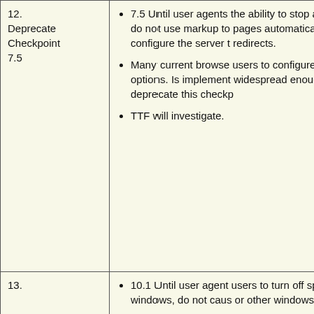| 12.
Deprecate
Checkpoint
7.5 | 7.5 Until user agents the ability to stop auto do not use markup to pages automatically. configure the server t redirects.
Many current browse users to configure rec options. Is implement widespread enough t deprecate this checkp
TTF will investigate. |
| 13. | 10.1 Until user agent users to turn off spaw windows, do not caus or other windows to a |